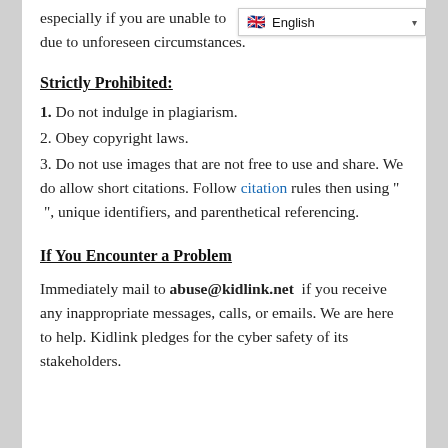especially if you are unable to [pay/participate] due to unforeseen circumstances.
Strictly Prohibited:
1. Do not indulge in plagiarism.
2. Obey copyright laws.
3. Do not use images that are not free to use and share. We do allow short citations. Follow citation rules then using " ", unique identifiers, and parenthetical referencing.
If You Encounter a Problem
Immediately mail to abuse@kidlink.net if you receive any inappropriate messages, calls, or emails. We are here to help. Kidlink pledges for the cyber safety of its stakeholders.